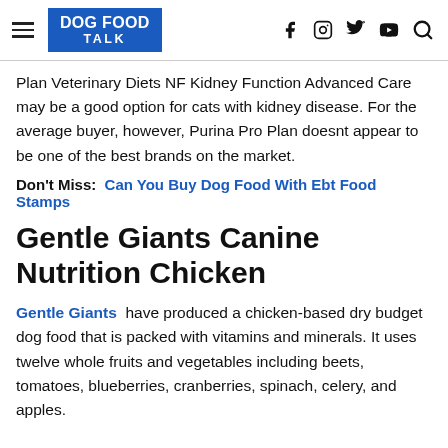DOG FOOD TALK
Plan Veterinary Diets NF Kidney Function Advanced Care may be a good option for cats with kidney disease. For the average buyer, however, Purina Pro Plan doesnt appear to be one of the best brands on the market.
Don't Miss: Can You Buy Dog Food With Ebt Food Stamps
Gentle Giants Canine Nutrition Chicken
Gentle Giants have produced a chicken-based dry budget dog food that is packed with vitamins and minerals. It uses twelve whole fruits and vegetables including beets, tomatoes, blueberries, cranberries, spinach, celery, and apples.